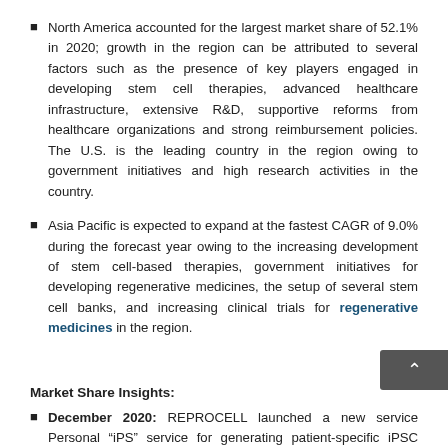North America accounted for the largest market share of 52.1% in 2020; growth in the region can be attributed to several factors such as the presence of key players engaged in developing stem cell therapies, advanced healthcare infrastructure, extensive R&D, supportive reforms from healthcare organizations and strong reimbursement policies. The U.S. is the leading country in the region owing to government initiatives and high research activities in the country.
Asia Pacific is expected to expand at the fastest CAGR of 9.0% during the forecast year owing to the increasing development of stem cell-based therapies, government initiatives for developing regenerative medicines, the setup of several stem cell banks, and increasing clinical trials for regenerative medicines in the region.
Market Share Insights:
December 2020: REPROCELL launched a new service Personal "iPS" service for generating patient-specific iPSC from January 2021. The service will help in preparing and storing an individual's iPSCs for developing regenerative medicines for treating future illness or injury.